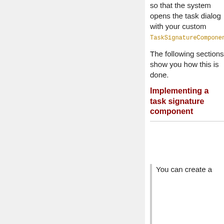so that the system opens the task dialog with your custom TaskSignatureComponent.
The following sections show you how this is done.
Implementing a task signature component
You can create a